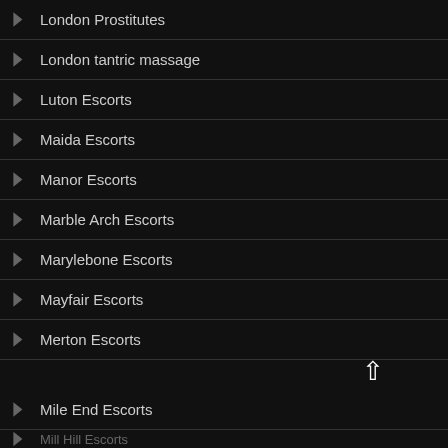London Prostitutes
London tantric massage
Luton Escorts
Maida Escorts
Manor Escorts
Marble Arch Escorts
Marylebone Escorts
Mayfair Escorts
Merton Escorts
Mile End Escorts
Mill Hill Escorts